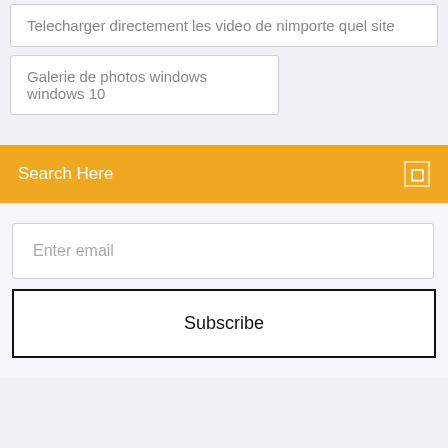Telecharger directement les video de nimporte quel site
Galerie de photos windows windows 10
Search Here
Enter email
Subscribe